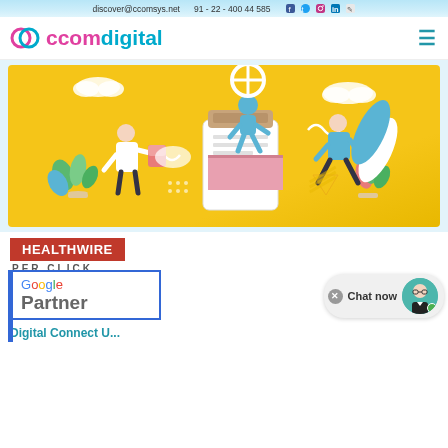discover@ccomsys.net   91 - 22 - 400 44 585
[Figure (logo): ccomdigital logo with swirl icon in pink/magenta and teal text]
[Figure (illustration): Yellow background illustration showing medical/pharma workers with pill bottles and capsules]
[Figure (logo): HEALTHWIRE logo in red/white block text with PER CLICK subtitle]
[Figure (logo): Google Partner badge with blue border]
Chat now
Digital Connect U...